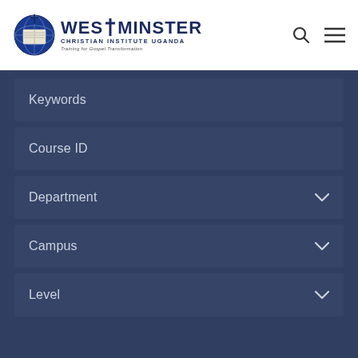Westminster Christian Institute Uganda — Training for Gospel Transformation
Keywords
Course ID
Department
Campus
Level